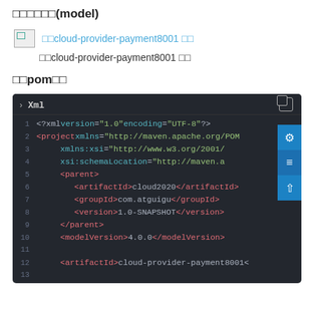□□□□□□(model)
[Figure (screenshot): Image placeholder icon followed by link text: □□cloud-provider-payment8001 □□]
□□cloud-provider-payment8001 □□
□□pom□□
[Figure (screenshot): Code editor screenshot showing XML/Maven pom.xml content with dark theme. Lines 1-13 visible showing XML header, project element with xmlns attributes, parent block containing artifactId cloud2020, groupId com.atguigu, version 1.0-SNAPSHOT, modelVersion 4.0.0, and artifactId cloud-provider-payment8001.]